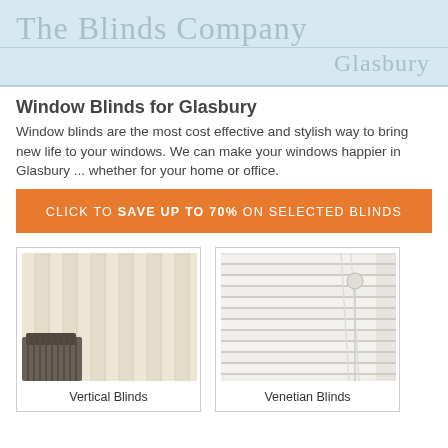The Blinds Company
Glasbury
Window Blinds for Glasbury
Window blinds are the most cost effective and stylish way to bring new life to your windows. We can make your windows happier in Glasbury ... whether for your home or office.
CLICK TO SAVE UP TO 70% ON SELECTED BLINDS
[Figure (photo): Photo of cream vertical blinds with a patterned chair visible at bottom left]
Vertical Blinds
[Figure (photo): Photo of white venetian blinds with pull cord visible]
Venetian Blinds